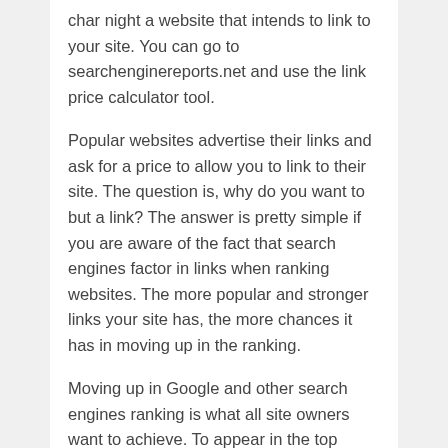char night a website that intends to link to your site. You can go to searchenginereports.net and use the link price calculator tool.
Popular websites advertise their links and ask for a price to allow you to link to their site. The question is, why do you want to but a link? The answer is pretty simple if you are aware of the fact that search engines factor in links when ranking websites. The more popular and stronger links your site has, the more chances it has in moving up in the ranking.
Moving up in Google and other search engines ranking is what all site owners want to achieve. To appear in the top position of the very first page on all search engines your website must follow the acronym ART, which is:
Authority
Rel...